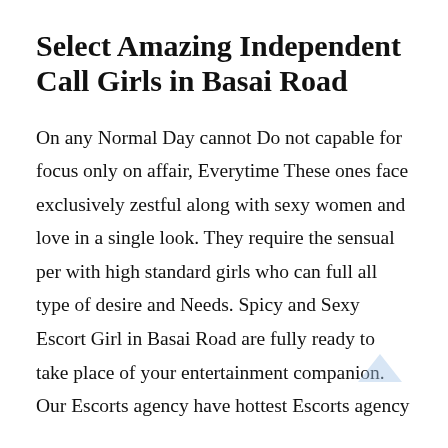Select Amazing Independent Call Girls in Basai Road
On any Normal Day cannot Do not capable for focus only on affair, Everytime These ones face exclusively zestful along with sexy women and love in a single look. They require the sensual per with high standard girls who can full all type of desire and Needs. Spicy and Sexy Escort Girl in Basai Road are fully ready to take place of your entertainment companion. Our Escorts agency have hottest Escorts agency in Basai Road, We are serving with smartest Call Girl Service in